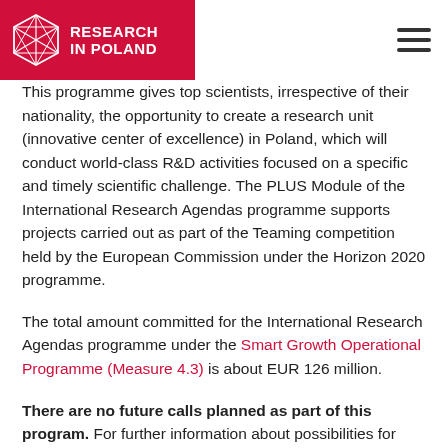RESEARCH IN POLAND
This programme gives top scientists, irrespective of their nationality, the opportunity to create a research unit (innovative center of excellence) in Poland, which will conduct world-class R&D activities focused on a specific and timely scientific challenge. The PLUS Module of the International Research Agendas programme supports projects carried out as part of the Teaming competition held by the European Commission under the Horizon 2020 programme.
The total amount committed for the International Research Agendas programme under the Smart Growth Operational Programme (Measure 4.3) is about EUR 126 million.
There are no future calls planned as part of this program. For further information about possibilities for conducting research in Poland please check the job openings in our